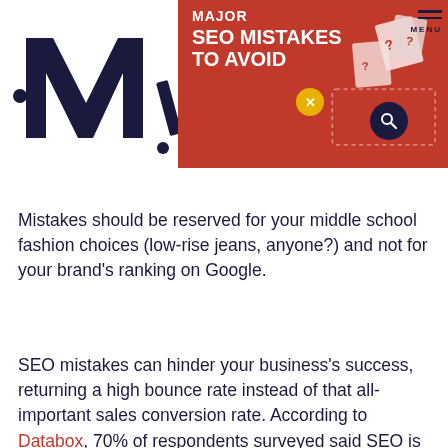MAJOR SEO MISTAKES TO AVOID — website header with logo and navigation menu
Mistakes should be reserved for your middle school fashion choices (low-rise jeans, anyone?) and not for your brand's ranking on Google.
SEO mistakes can hinder your business's success, returning a high bounce rate instead of that all-important sales conversion rate. According to Databox, 70% of respondents surveyed said SEO is more effective than PPC at driving sales conversions. So you better get